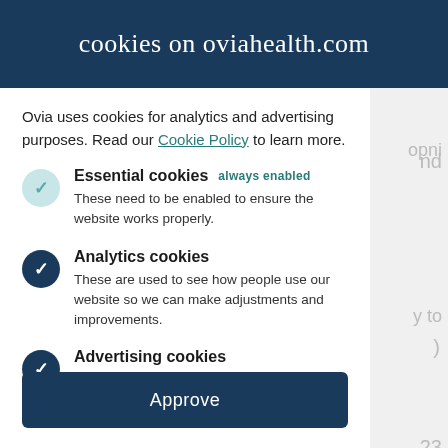cookies on oviahealth.com
Ovia uses cookies for analytics and advertising purposes. Read our Cookie Policy to learn more.
Essential cookies  always enabled
These need to be enabled to ensure the website works properly.
Analytics cookies
These are used to see how people use our website so we can make adjustments and improvements.
Advertising cookies